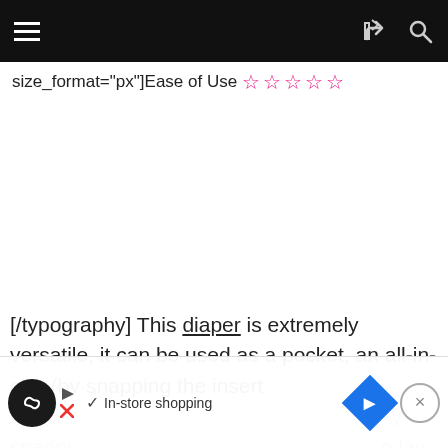Navigation bar with hamburger menu, share icon, and search icon
size_format="px"]Ease of Use ☆☆☆☆☆
[/typography] This diaper is extremely versatile, it can be used as a pocket, an all-in-one (by snapping the insert inside [partially visible] snapping [partially visible] lay
[Figure (screenshot): In-store shopping ad banner overlay at the bottom of the page with a circular dark icon, play and X symbols, checkmark, navigation diamond icon, and close button]